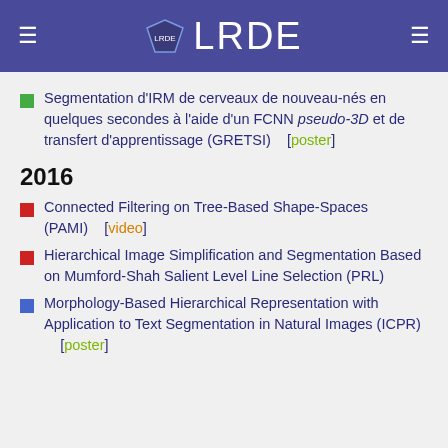LRDE
Segmentation d'IRM de cerveaux de nouveau-nés en quelques secondes à l'aide d'un FCNN pseudo-3D et de transfert d'apprentissage (GRETSI) [poster]
2016
Connected Filtering on Tree-Based Shape-Spaces (PAMI) [video]
Hierarchical Image Simplification and Segmentation Based on Mumford-Shah Salient Level Line Selection (PRL)
Morphology-Based Hierarchical Representation with Application to Text Segmentation in Natural Images (ICPR) [poster]